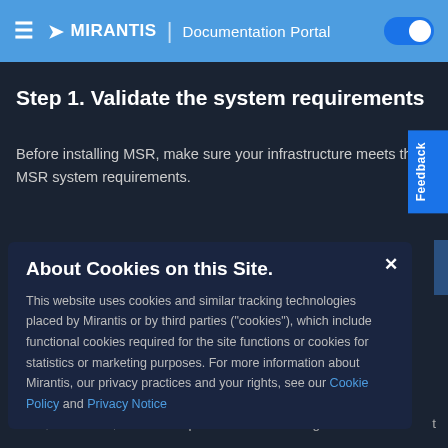≡  ✈ MIRANTIS | Documentation Portal
Step 1. Validate the system requirements
Before installing MSR, make sure your infrastructure meets the MSR system requirements.
About Cookies on this Site.
This website uses cookies and similar tracking technologies placed by Mirantis or by third parties ("cookies"), which include functional cookies required for the site functions or cookies for statistics or marketing purposes. For more information about Mirantis, our privacy practices and your rights, see our Cookie Policy and Privacy Notice
MKE, then MSR, and then repeat for the remaining three